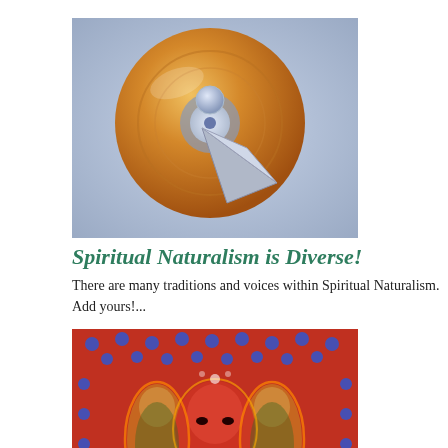[Figure (illustration): A gold/orange CD or disc with a metallic silver triangular pointer/arrow on a light blue-grey gradient background. Looks like a software icon for a media or navigation application.]
Spiritual Naturalism is Diverse!
There are many traditions and voices within Spiritual Naturalism. Add yours!...
[Figure (illustration): A colorful psychedelic illustration showing a symmetrical face or deity figure in vivid reds, oranges, greens and blues with a mandala-like pattern of blue dots on a red background. Appears spiritual/visionary art style.]
Is Spiritual Naturalism an Oxymoron?
Thomas Schenk suggests that, if ‘the Kingdom of Heaven is within’, then it is a part of our world and a part of our self; something we can experience here